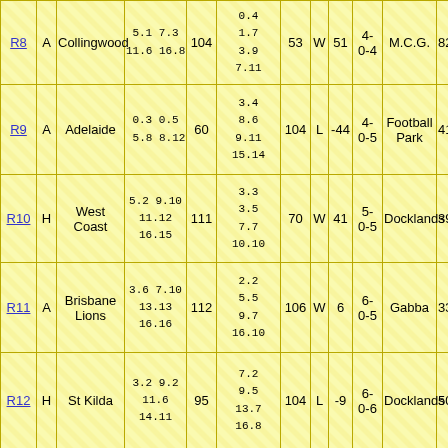| R | H/A | Opponent | Our Qtrs | Pts | Opp Qtrs | Ops | W/L | Mg | Rec | Venue | Att |
| --- | --- | --- | --- | --- | --- | --- | --- | --- | --- | --- | --- |
| R8 | A | Collingwood | 5.1 7.3 11.6 16.8 | 104 | 0.4 1.7 3.9 7.11 | 53 | W | 51 | 4-0-4 | M.C.G. | 828? |
| R9 | A | Adelaide | 0.3 0.5 5.8 8.12 | 60 | 3.4 8.6 9.11 15.14 | 104 | L | -44 | 4-0-5 | Football Park | 411? |
| R10 | H | West Coast | 5.2 9.10 11.12 16.15 | 111 | 3.3 3.5 7.7 10.10 | 70 | W | 41 | 5-0-5 | Docklands | 396? |
| R11 | A | Brisbane Lions | 3.6 7.10 13.13 16.16 | 112 | 2.2 5.5 9.7 16.10 | 106 | W | 6 | 6-0-5 | Gabba | 337? |
| R12 | H | St Kilda | 3.2 9.2 11.6 14.11 | 95 | 7.2 9.5 13.7 16.8 | 104 | L | -9 | 6-0-6 | Docklands | 508? |